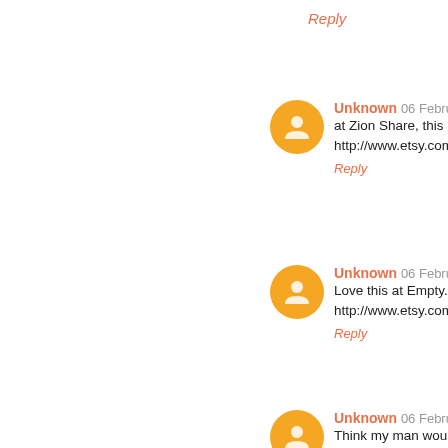Reply
Unknown 06 Februa...
at Zion Share, this i...
http://www.etsy.com...
Reply
Unknown 06 Februa...
Love this at Empty...
http://www.etsy.com...
Reply
Unknown 06 Februa...
Think my man would...
http://www.etsy.com...
Reply
Rockstar Mommy ...
blomma finds - I lo...
also love the fish b...